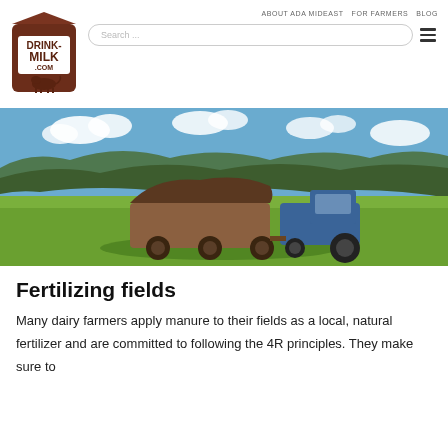[Figure (logo): Drink-Milk.com logo: brown milk carton with a white cow silhouette and bold text DRINK-MILK .COM]
ABOUT ADA MIDEAST   FOR FARMERS   BLOG
[Figure (photo): A tractor spreading manure on a green field with blue sky and wooded hills in the background]
Fertilizing fields
Many dairy farmers apply manure to their fields as a local, natural fertilizer and are committed to following the 4R principles. They make sure to